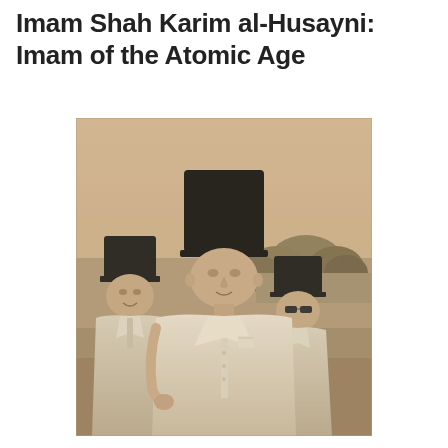Imam Shah Karim al-Husayni: Imam of the Atomic Age
[Figure (photo): Sepia-toned historical photograph of three men wearing white suits and tall black fez-style hats. The central figure is taller and prominent, the men on either side flank him. Background shows trees and outdoor landscape. The photo has a vintage, mid-20th century appearance.]